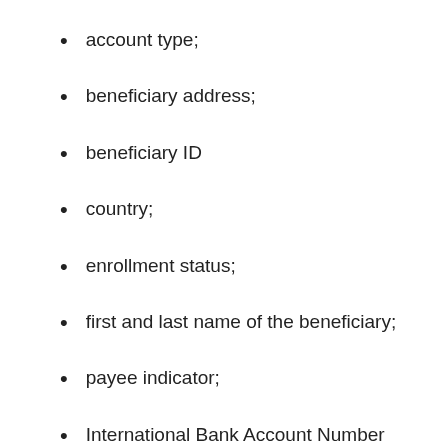account type;
beneficiary address;
beneficiary ID
country;
enrollment status;
first and last name of the beneficiary;
payee indicator;
International Bank Account Number (IBAN)